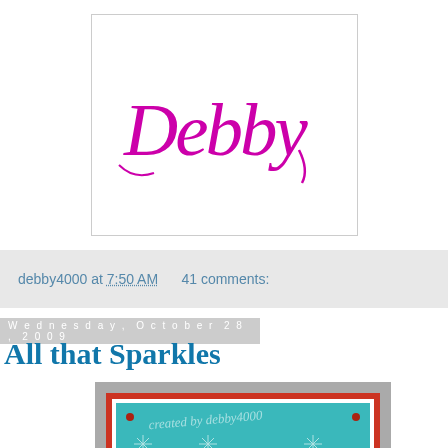[Figure (logo): Debby cursive signature logo in magenta/pink on white background with thin border]
debby4000 at 7:50 AM    41 comments:
Wednesday, October 28, 2009
All that Sparkles
[Figure (photo): Handmade greeting card with teal/aqua background featuring white stamped snowflake pattern, red border, and three large dimensional white glittery snowflakes in the center with red gem accents. Watermark reads 'created by debby4000'.]